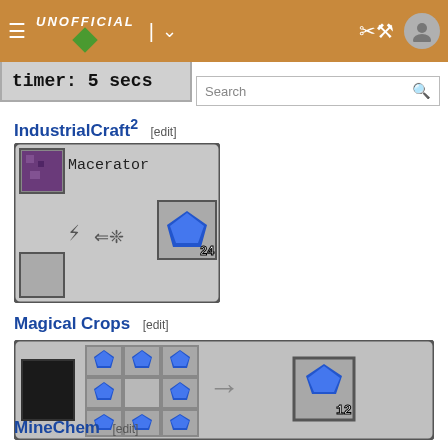UNOFFICIAL (navigation bar with logo, hamburger menu, search)
Timer: 5 secs
IndustrialCraft2 [edit]
[Figure (screenshot): Macerator recipe in IndustrialCraft2: ore input processed in Macerator machine producing 24 lapis lazuli dust]
Magical Crops [edit]
[Figure (screenshot): Magical Crops crafting recipe: 8 lapis crop items surrounding empty center in 3x3 grid yields 12 lapis lazuli]
MineChem [edit]